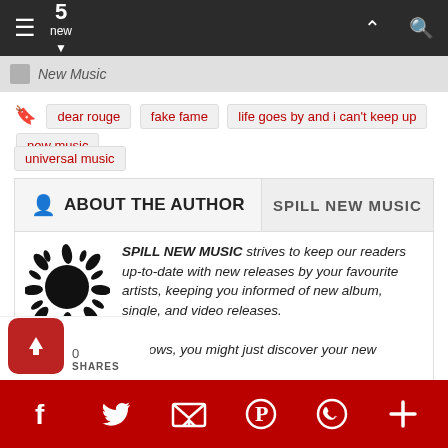5 new
New Music
dear rouge
fake fame
life goes by and i can't keep up
new music
universal music
ABOUT THE AUTHOR | SPILL NEW MUSIC
SPILL NEW MUSIC strives to keep our readers up-to-date with new releases by your favourite artists, keeping you informed of new album, single, and video releases. Stay tuned -- who knows, you might just discover your new favourite band.
0 SHARES